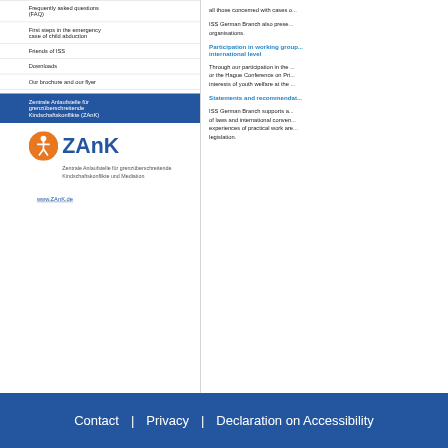Frequently asked questions (FAQ)
First steps in the emergency case of child abduction
Friends of ISS
Downloads
Our brochure and our flyer
Zentrale Anlaufstelle für grenzüberschreitende Kindschaftskonflikte (ZAnK)
[Figure (logo): ZAnK logo with orange circle figure and blue ZAnK text, subtitle: Zentrale Anlaufstelle für grenzüberschreitende Kindschaftskonflikte und Mediation]
www.ZAnK.de
all those concerned with cases of...
ISS German Branch also prese... organisations.
Participation in working group... international level
Through our participation in the ... or the Hague Conference on Pri... interests of youth welfare at the ...
Statements and recommendat...
ISS German Branch supports a... of laws and international conven... experiences of practical work are... legislation.
Contact | Privacy | Declaration on Accessibility